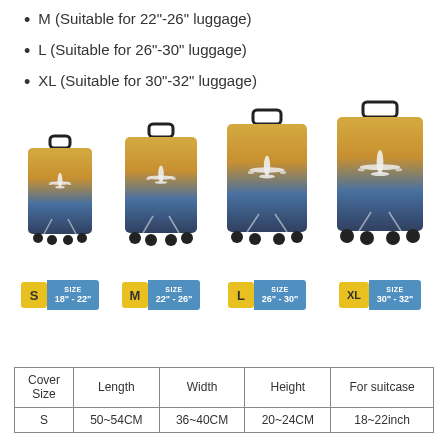M (Suitable for 22"-26" luggage)
L (Suitable for 26"-30" luggage)
XL (Suitable for 30"-32" luggage)
[Figure (photo): Four luggage suitcases of increasing size (S, M, L, XL) with airplane-themed covers, each labeled with size letter and dimension range. S: 18"-22", M: 22"-26", L: 26"-30", XL: 30"-32"]
| Cover Size | Length | Width | Height | For suitcase |
| --- | --- | --- | --- | --- |
| S | 50~54CM | 36~40CM | 20~24CM | 18~22inch |